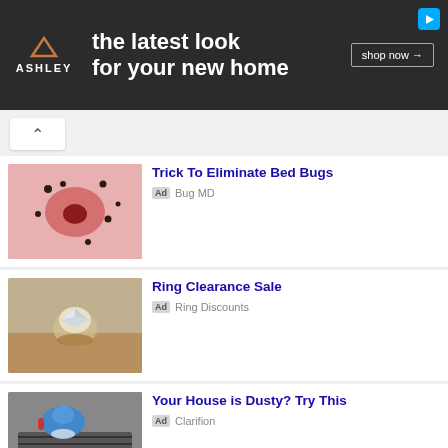[Figure (screenshot): Ashley Furniture banner ad: dark background with Ashley logo and text 'the latest look for your new home' and 'shop now' button]
[Figure (screenshot): Ad thumbnail: bed bugs on skin]
Trick To Eliminate Bed Bugs
Ad  Bug MD
[Figure (screenshot): Ad thumbnail: diamond ring on finger]
Ring Clearance Sale
Ad  Ring Discounts
[Figure (screenshot): Ad thumbnail: blue scoop pouring powder into air vent]
Your House is Dusty? Try This
Ad  Clarifion
[Figure (screenshot): Ad thumbnail: earwax extraction tool near ear]
Clever Way To Extract Earwax
Ad  Q-Grips.com
[Figure (screenshot): Ad thumbnail: raw beef and lamb cuts]
Halal beef and lamb online
Ad  Emir Halal Foods